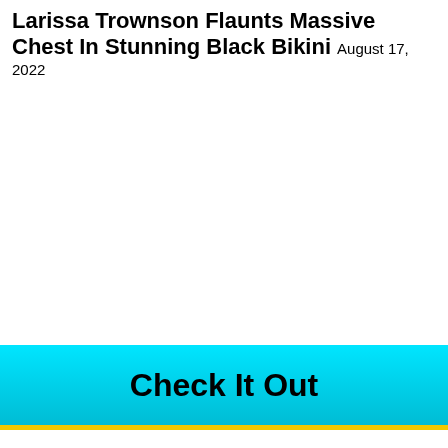Larissa Trownson Flaunts Massive Chest In Stunning Black Bikini August 17, 2022
Check It Out